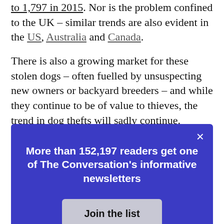to 1,797 in 2015. Nor is the problem confined to the UK – similar trends are also evident in the US, Australia and Canada.
There is also a growing market for these stolen dogs – often fuelled by unsuspecting new owners or backyard breeders – and while they continue to be of value to thieves, the trend in dog thefts will sadly continue. Despite a call for harsher sentencing for dog theft crimes, the theft of a dog in the Britain is
[Figure (screenshot): A modal popup overlay on a dark blue/indigo background. It shows a close button (×) in the top right, the text 'More than 152,197 readers get one of The Conversation's informative newsletters' in bold white, and a grey 'Join the list' button.]
service or a fine.